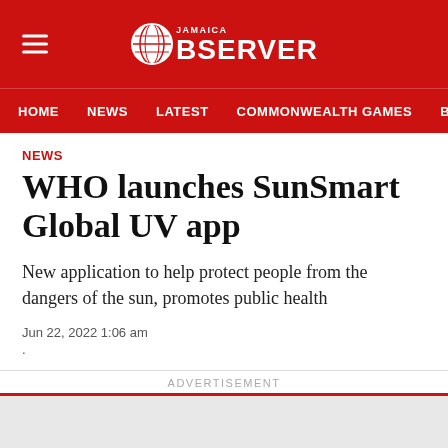Jamaica Observer — HOME | NEWS | LATEST | COMMONWEALTH GAMES | BUSINESS
NEWS
WHO launches SunSmart Global UV app
New application to help protect people from the dangers of the sun, promotes public health
Jun 22, 2022 1:06 am
ADVERTISEMENT